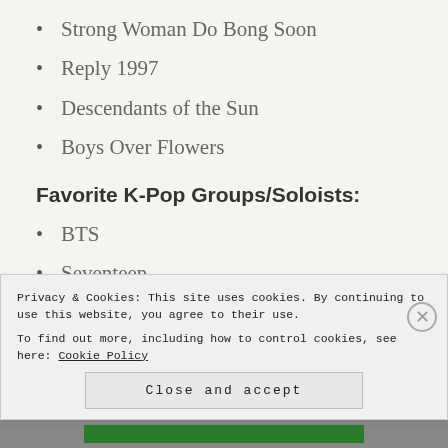Strong Woman Do Bong Soon
Reply 1997
Descendants of the Sun
Boys Over Flowers
Favorite K-Pop Groups/Soloists:
BTS
Seventeen
Privacy & Cookies: This site uses cookies. By continuing to use this website, you agree to their use. To find out more, including how to control cookies, see here: Cookie Policy
Close and accept